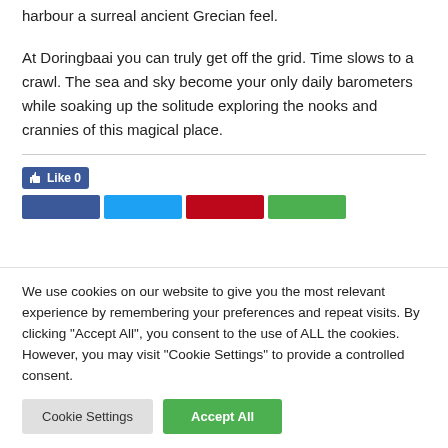harbour a surreal ancient Grecian feel.
At Doringbaai you can truly get off the grid. Time slows to a crawl. The sea and sky become your only daily barometers while soaking up the solitude exploring the nooks and crannies of this magical place.
[Figure (screenshot): Facebook Like button showing count of 0, followed by four social sharing buttons in blue (Facebook), light blue (Twitter), red (Pinterest), and green (WhatsApp/share)]
We use cookies on our website to give you the most relevant experience by remembering your preferences and repeat visits. By clicking "Accept All", you consent to the use of ALL the cookies. However, you may visit "Cookie Settings" to provide a controlled consent.
Cookie Settings  Accept All